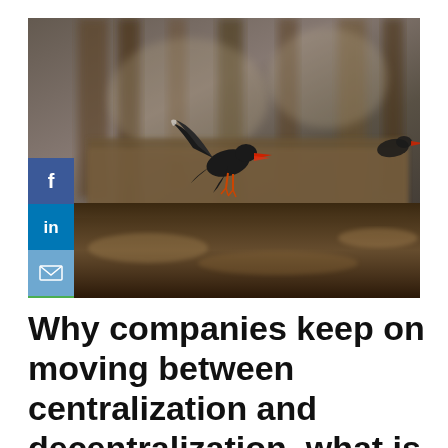[Figure (photo): A black bird with red beak in flight over a blurry forest and water background. Social media share buttons (Facebook, LinkedIn, Email, Phone) are overlaid on the left side of the image.]
Why companies keep on moving between centralization and decentralization, what is